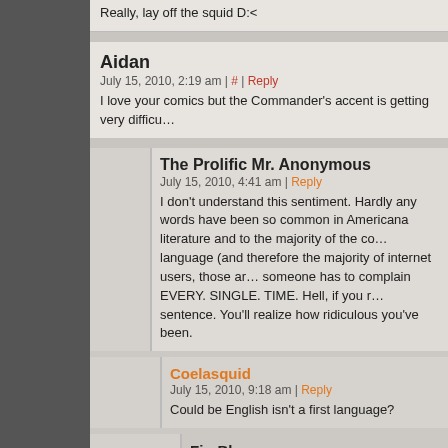Really, lay off the squid D:<
Aidan
July 15, 2010, 2:19 am | # | Reply
I love your comics but the Commander's accent is getting very difficu…
The Prolific Mr. Anonymous
July 15, 2010, 4:41 am | Reply
I don't understand this sentiment. Hardly any words have been so common in Americana literature and to the majority of the co… language (and therefore the majority of internet users, those ar… someone has to complain EVERY. SINGLE. TIME. Hell, if you r… sentence. You'll realize how ridiculous you've been.
Coelasquid
July 15, 2010, 9:18 am | Reply
Could be English isn't a first language?
FireBlaze
July 15, 2010, 11:15 pm | Reply
There IS a difference between reading and spoken…
Coelasquid